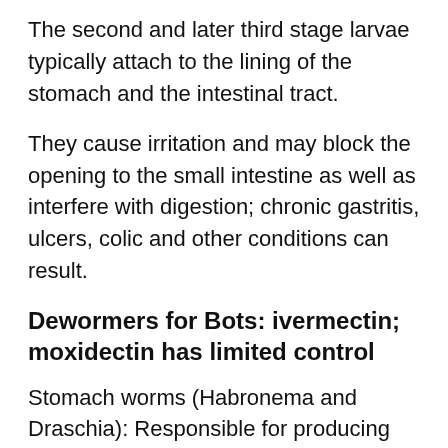The second and later third stage larvae typically attach to the lining of the stomach and the intestinal tract.
They cause irritation and may block the opening to the small intestine as well as interfere with digestion; chronic gastritis, ulcers, colic and other conditions can result.
Dewormers for Bots: ivermectin; moxidectin has limited control
Stomach worms (Habronema and Draschia): Responsible for producing “summer sores” or non-healing wounds and internal problems. Infection occurs when flies deposit infected larvae on the horse’s lips, nostrils, or open sores. When deposited in wounds, “summer sores” can occur. In large numbers, habronema can produce severe gastritis, and tumor-like enlargements may develop in the wall of thestomach. If they rupture, peritonitis usually ensues.